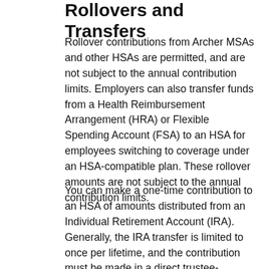Rollovers and Transfers
Rollover contributions from Archer MSAs and other HSAs are permitted, and are not subject to the annual contribution limits. Employers can also transfer funds from a Health Reimbursement Arrangement (HRA) or Flexible Spending Account (FSA) to an HSA for employees switching to coverage under an HSA-compatible plan. These rollover amounts are not subject to the annual contribution limits.
You can make a one-time contribution to an HSA of amounts distributed from an Individual Retirement Account (IRA). Generally, the IRA transfer is limited to once per lifetime, and the contribution must be made in a direct trustee-